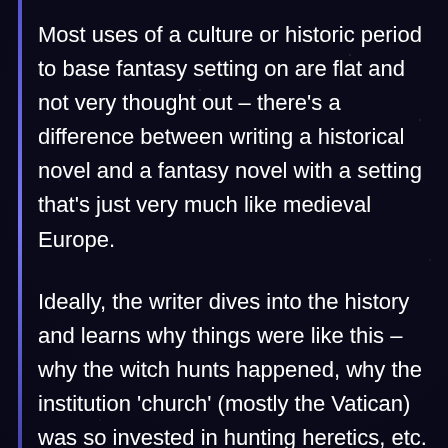Most uses of a culture or historic period to base fantasy setting on are flat and not very thought out – there's a difference between writing a historical novel and a fantasy novel with a setting that's just very much like medieval Europe.
Ideally, the writer dives into the history and learns why things were like this – why the witch hunts happened, why the institution 'church' (mostly the Vatican) was so invested in hunting heretics, etc. Then they develop the history of their own world and see how this and that could have happened in their version as well. Or they figure out why it would not have happened.